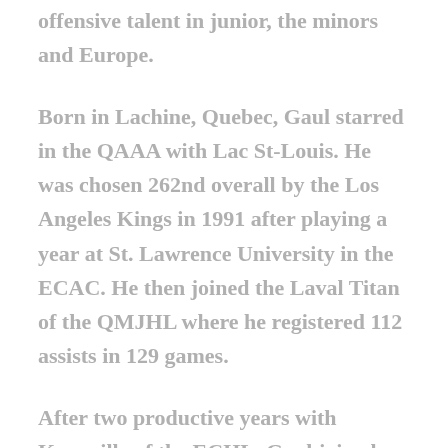offensive talent in junior, the minors and Europe.
Born in Lachine, Quebec, Gaul starred in the QAAA with Lac St-Louis. He was chosen 262nd overall by the Los Angeles Kings in 1991 after playing a year at St. Lawrence University in the ECAC. He then joined the Laval Titan of the QMJHL where he registered 112 assists in 129 games.
After two productive years with Knoxville of the ECHL, Gaul joined ETC...